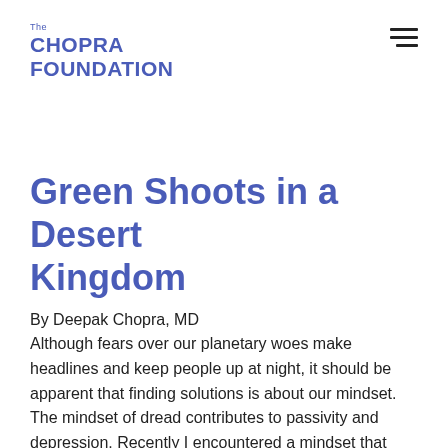The CHOPRA FOUNDATION
Green Shoots in a Desert Kingdom
By Deepak Chopra, MD
Although fears over our planetary woes make headlines and keep people up at night, it should be apparent that finding solutions is about our mindset. The mindset of dread contributes to passivity and depression. Recently I encountered a mindset that holds promise because it combines consciousness-